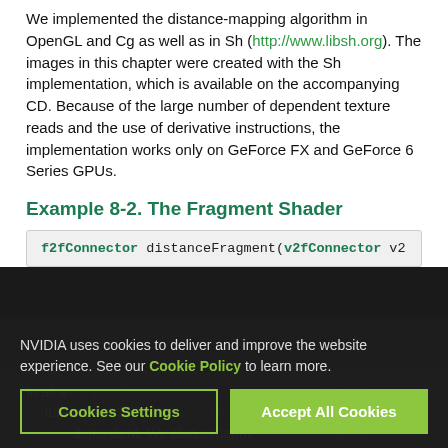We implemented the distance-mapping algorithm in OpenGL and Cg as well as in Sh (http://www.libsh.org). The images in this chapter were created with the Sh implementation, which is available on the accompanying CD. Because of the large number of dependent texture reads and the use of derivative instructions, the implementation works only on GeForce FX and GeForce 6 Series GPUs.
Example 8-2. The Fragment Shader
[Figure (screenshot): Code snippet showing: f2fConnector distanceFragment(v2fConnector v2]
In all examples, the texture has a resolution of 256x256 and a texture size of 256x256x16. At this resolution, the lookup table is view-dependent. We also experimented with maps up to 512x512x32 for complex data sets. We set the value of NUM_ITERATIONS to 4 iterations. In most cases, this was more than en...
NVIDIA uses cookies to deliver and improve the website experience. See our Cookie Policy to learn more.
Cookies Settings
Accept All Cookies